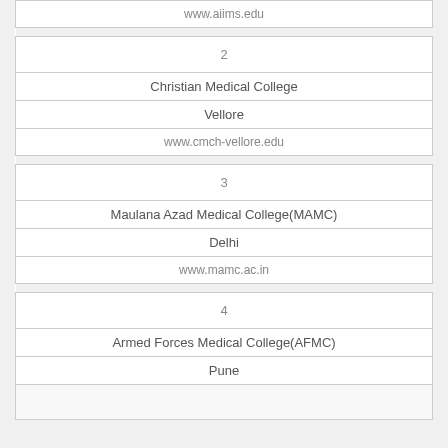| www.aiims.edu |
| 2 |
| Christian Medical College |
| Vellore |
| www.cmch-vellore.edu |
| 3 |
| Maulana Azad Medical College(MAMC) |
| Delhi |
| www.mamc.ac.in |
| 4 |
| Armed Forces Medical College(AFMC) |
| Pune |
| (continuing...) |